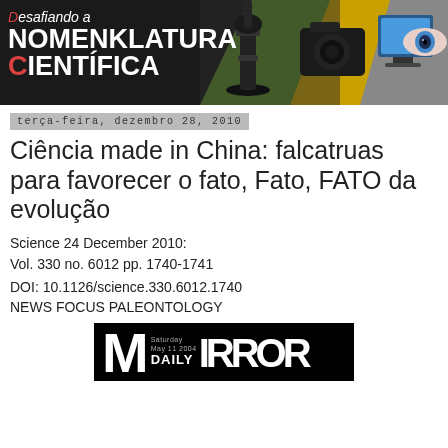[Figure (illustration): Blog banner with title 'Desafiando a NOMENKLATURA CIENTÍFICA' on a black background with images of a microscope, camera, computer monitor, and a human eye]
terça-feira, dezembro 28, 2010
Ciência made in China: falcatruas para favorecer o fato, Fato, FATO da evolução
Science 24 December 2010:
Vol. 330 no. 6012 pp. 1740-1741
DOI: 10.1126/science.330.6012.1740
NEWS FOCUS PALEONTOLOGY
[Figure (photo): Partial image of the Daily Mirror newspaper header showing large 'M' and 'DAILY MIRROR' text on black background]